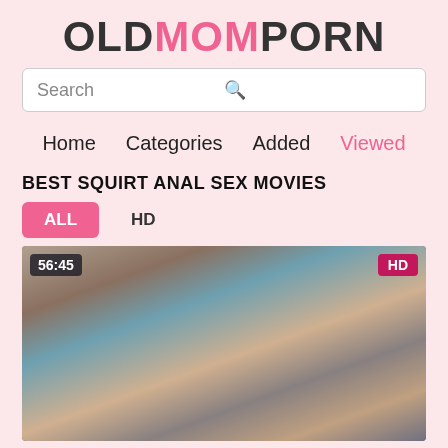OLDMOMPORN
Search
Home   Categories   Added   Viewed
BEST SQUIRT ANAL SEX MOVIES
ALL   HD
[Figure (photo): Video thumbnail showing adult content with duration badge '56:45' and 'HD' quality badge]